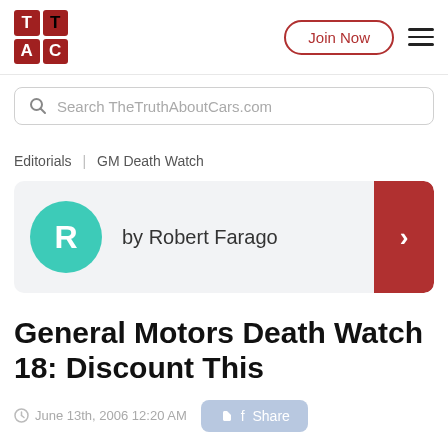TTAC | Join Now
Search TheTruthAboutCars.com
Editorials | GM Death Watch
by Robert Farago
General Motors Death Watch 18: Discount This
June 13th, 2006 12:20 AM